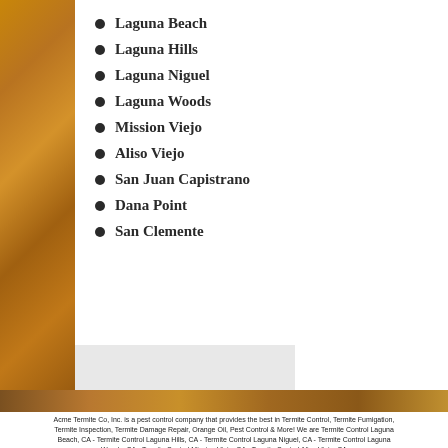Laguna Beach
Laguna Hills
Laguna Niguel
Laguna Woods
Mission Viejo
Aliso Viejo
San Juan Capistrano
Dana Point
San Clemente
Acme Termite Co, Inc. is a pest control company that provides the best in Termite Control, Termite Fumigation, Termite Inspection, Termite Damage Repair, Orange Oil, Pest Control & More! We are Termite Control Laguna Beach, CA - Termite Control Laguna Hills, CA - Termite Control Laguna Niguel, CA - Termite Control Laguna Woods, CA - Termite Control Mission Viejo, CA - Termite Control Aliso Viejo, CA